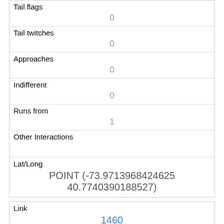| Tail flags | 0 |
| Tail twitches | 0 |
| Approaches | 0 |
| Indifferent | 0 |
| Runs from | 1 |
| Other Interactions |  |
| Lat/Long | POINT (-73.9713968424625 40.7740390188527) |
| Link | 1460 |
| rowid | 1460 |
| longitude | -73.9714329979394(truncated) |